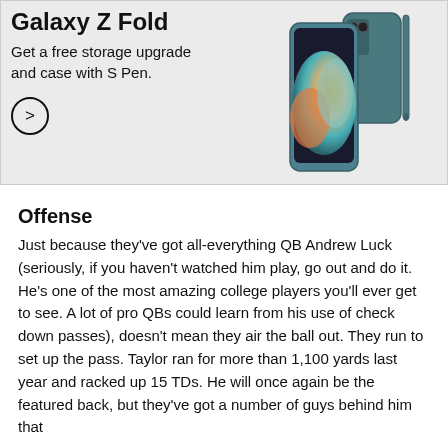[Figure (photo): Samsung Galaxy Z Fold advertisement banner showing text 'Get a free storage upgrade and case with S Pen.' with a right arrow button, and an image of the Samsung Galaxy Z Fold phone in teal/blue color]
Offense
Just because they've got all-everything QB Andrew Luck (seriously, if you haven't watched him play, go out and do it. He's one of the most amazing college players you'll ever get to see. A lot of pro QBs could learn from his use of check down passes), doesn't mean they air the ball out. They run to set up the pass. Taylor ran for more than 1,100 yards last year and racked up 15 TDs. He will once again be the featured back, but they've got a number of guys behind him that